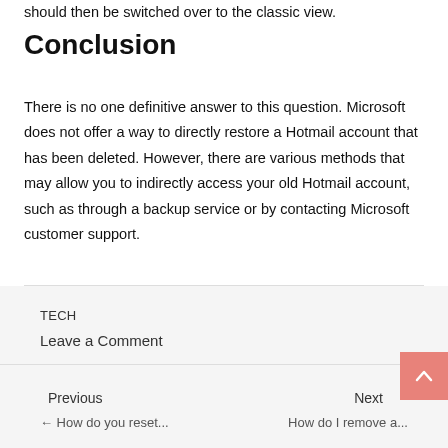should then be switched over to the classic view.
Conclusion
There is no one definitive answer to this question. Microsoft does not offer a way to directly restore a Hotmail account that has been deleted. However, there are various methods that may allow you to indirectly access your old Hotmail account, such as through a backup service or by contacting Microsoft customer support.
TECH
Leave a Comment
Previous
Next
← How do you reset...
How do I remove a...